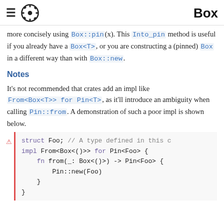Box
more concisely using Box::pin(x). This Into_pin method is useful if you already have a Box<T>, or you are constructing a (pinned) Box in a different way than with Box::new.
Notes
It's not recommended that crates add an impl like From<Box<T>> for Pin<T>, as it'll introduce an ambiguity when calling Pin::from. A demonstration of such a poor impl is shown below.
[Figure (screenshot): Rust code block showing a struct Foo definition and an impl From<Box<()>> for Pin<Foo> with a from function returning Pin::new(Foo). There is a red error icon and red left border indicating a problematic implementation.]